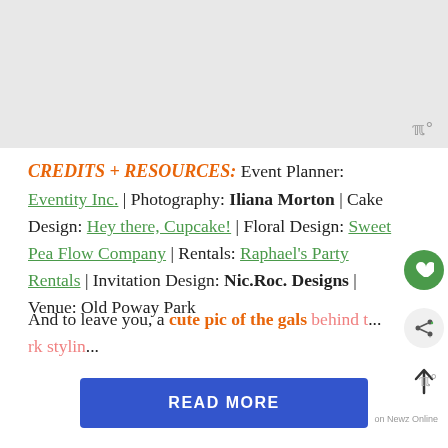[Figure (photo): Gray placeholder image area at the top of the page]
CREDITS + RESOURCES: Event Planner: Eventity Inc. | Photography: Iliana Morton | Cake Design: Hey there, Cupcake! | Floral Design: Sweet Pea Flow Company | Rentals: Raphael's Party Rentals | Invitation Design: Nic.Roc. Designs | Venue: Old Poway Park
And to leave you, a cute pic of the gals behind t... rk styling away thi...